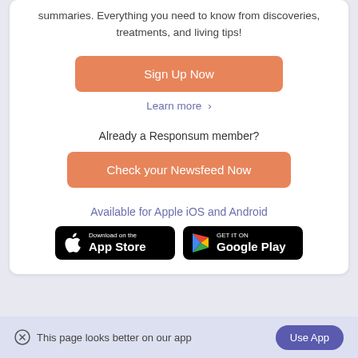summaries. Everything you need to know from discoveries, treatments, and living tips!
Sign Up Now
Learn more >
Already a Responsum member?
Check your Newsfeed Now
Available for Apple iOS and Android
[Figure (logo): Download on the App Store badge (black background, Apple logo)]
[Figure (logo): Get it on Google Play badge (black background, Google Play triangle logo)]
This page looks better on our app
Use App